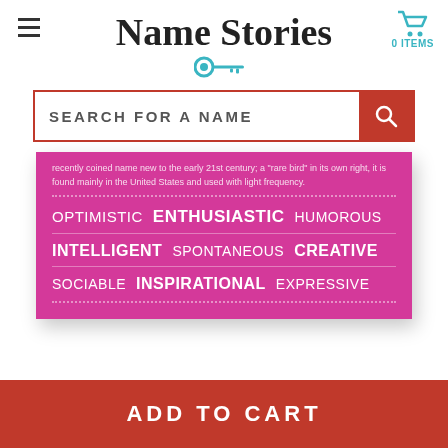Name Stories
[Figure (logo): Teal key icon below site title]
[Figure (screenshot): Shopping cart icon with 0 ITEMS label]
SEARCH FOR A NAME
recently coined name new to the early 21st century; a "rare bird" in its own right, it is found mainly in the United States and used with light frequency.
[Figure (infographic): Pink/magenta card showing personality traits: OPTIMISTIC ENTHUSIASTIC HUMOROUS / INTELLIGENT SPONTANEOUS CREATIVE / SOCIABLE INSPIRATIONAL EXPRESSIVE]
ADD TO CART